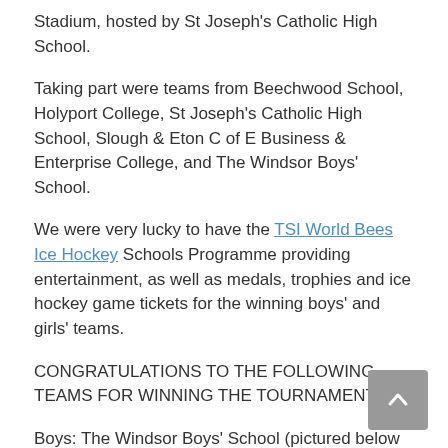Stadium, hosted by St Joseph's Catholic High School.
Taking part were teams from Beechwood School, Holyport College, St Joseph's Catholic High School, Slough & Eton C of E Business & Enterprise College, and The Windsor Boys' School.
We were very lucky to have the TSI World Bees Ice Hockey Schools Programme providing entertainment, as well as medals, trophies and ice hockey game tickets for the winning boys' and girls' teams.
CONGRATULATIONS TO THE FOLLOWING TEAMS FOR WINNING THE TOURNAMENT:
Boys: The Windsor Boys' School (pictured below with the Bees mascot, Buzz).